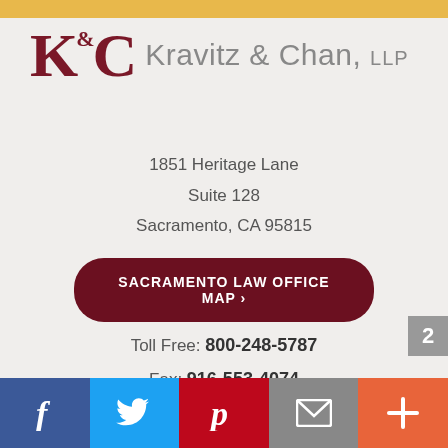[Figure (logo): Kravitz & Chan, LLP law firm logo with stylized K&C monogram in dark red and gray firm name text]
1851 Heritage Lane
Suite 128
Sacramento, CA 95815
SACRAMENTO LAW OFFICE MAP >
Toll Free: 800-248-5787
Fax: 916-553-4074
CONTACT US >
[Figure (infographic): Social media icon bar with Facebook, Twitter, Pinterest, Email, and More buttons]